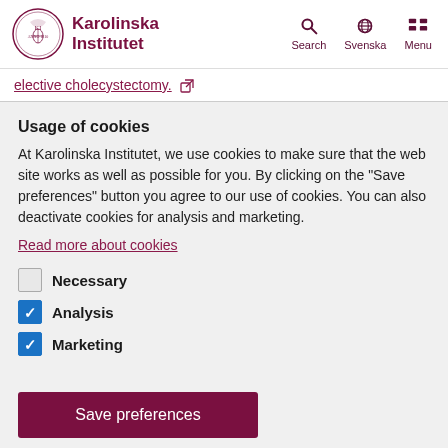[Figure (logo): Karolinska Institutet logo with circular seal and institution name in dark red]
elective cholecystectomy.
Usage of cookies
At Karolinska Institutet, we use cookies to make sure that the web site works as well as possible for you. By clicking on the "Save preferences" button you agree to our use of cookies. You can also deactivate cookies for analysis and marketing.
Read more about cookies
Necessary
Analysis
Marketing
Save preferences